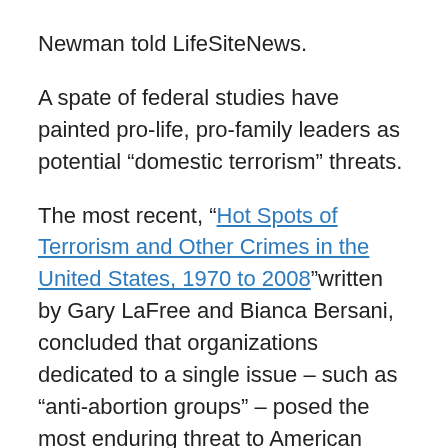Newman told LifeSiteNews.
A spate of federal studies have painted pro-life, pro-family leaders as potential “domestic terrorism” threats.
The most recent, “Hot Spots of Terrorism and Other Crimes in the United States, 1970 to 2008”written by Gary LaFree and Bianca Bersani, concluded that organizations dedicated to a single issue – such as “anti-abortion groups” – posed the most enduring threat to American safety and well-being.
An April 2009 DHS report on “Rightwing [sic.] Extremism” identified “groups and individuals that are dedicated to a single issue, such as opposition to abortion or immigration” and opposition to same-sex “marriage” as “the most dangerous domestic terrorism threat in the